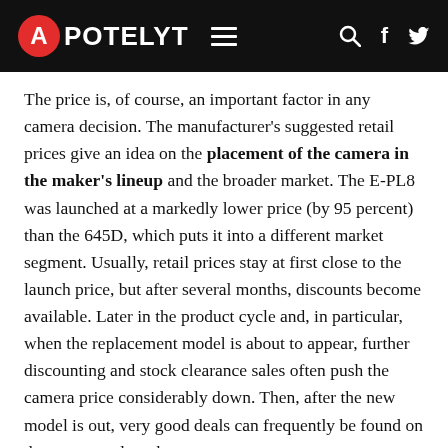APOTELYT
The price is, of course, an important factor in any camera decision. The manufacturer's suggested retail prices give an idea on the placement of the camera in the maker's lineup and the broader market. The E-PL8 was launched at a markedly lower price (by 95 percent) than the 645D, which puts it into a different market segment. Usually, retail prices stay at first close to the launch price, but after several months, discounts become available. Later in the product cycle and, in particular, when the replacement model is about to appear, further discounting and stock clearance sales often push the camera price considerably down. Then, after the new model is out, very good deals can frequently be found on the pre-owned market.
FEATURED VIDEOS
[Figure (screenshot): Video thumbnail showing Good Tech Cheap logo overlay on a dark background with objects on a surface]